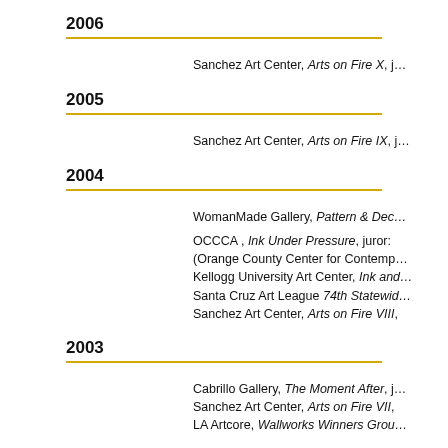2006
Sanchez Art Center, Arts on Fire X, j…
2005
Sanchez Art Center, Arts on Fire IX, j…
2004
WomanMade Gallery, Pattern & Dec…
OCCCA , Ink Under Pressure, juror: (Orange County Center for Contemp… Kellogg University Art Center, Ink and… Santa Cruz Art League 74th Statewid… Sanchez Art Center, Arts on Fire VIII,
2003
Cabrillo Gallery, The Moment After, j…
Sanchez Art Center, Arts on Fire VII,
LA Artcore, Wallworks Winners Grou…